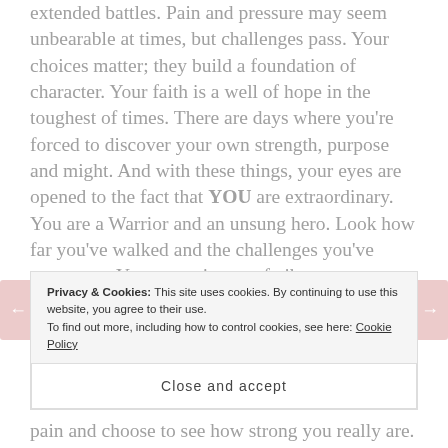extended battles. Pain and pressure may seem unbearable at times, but challenges pass. Your choices matter; they build a foundation of character. Your faith is a well of hope in the toughest of times. There are days where you're forced to discover your own strength, purpose and might. And with these things, your eyes are opened to the fact that YOU are extraordinary. You are a Warrior and an unsung hero. Look how far you've walked and the challenges you've overcome. Your story is one of vibrant courage, silent strength and unending hope. You are stronger than you
Privacy & Cookies: This site uses cookies. By continuing to use this website, you agree to their use. To find out more, including how to control cookies, see here: Cookie Policy
Close and accept
pain and choose to see how strong you really are.